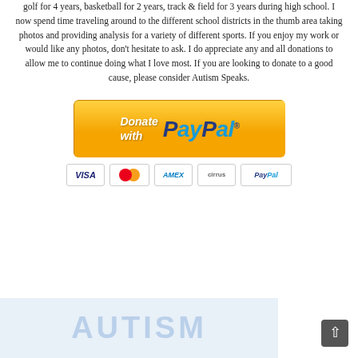golf for 4 years, basketball for 2 years, track & field for 3 years during high school. I now spend time traveling around to the different school districts in the thumb area taking photos and providing analysis for a variety of different sports. If you enjoy my work or would like any photos, don't hesitate to ask. I do appreciate any and all donations to allow me to continue doing what I love most. If you are looking to donate to a good cause, please consider Autism Speaks.
[Figure (other): Donate with PayPal button with payment card logos (VISA, MasterCard, American Express, Cirrus, PayPal) below]
[Figure (photo): Autism awareness banner/image with the word AUTISM in large text with puzzle piece silhouettes on a light blue background]